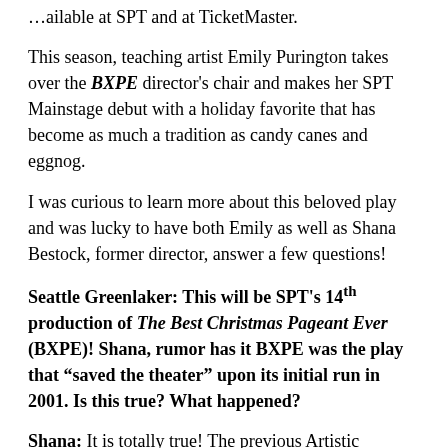...ailable at SPT and at TicketMaster.
This season, teaching artist Emily Purington takes over the BXPE director's chair and makes her SPT Mainstage debut with a holiday favorite that has become as much a tradition as candy canes and eggnog.
I was curious to learn more about this beloved play and was lucky to have both Emily as well as Shana Bestock, former director, answer a few questions!
Seattle Greenlaker: This will be SPT's 14th production of The Best Christmas Pageant Ever (BXPE)! Shana, rumor has it BXPE was the play that “saved the theater” upon its initial run in 2001. Is this true? What happened?
Shana: It is totally true! The previous Artistic Director had programmed the show but had to leave SPT when the board (which had dwindled to 3 hardy souls) couldn’t afford to pay him. SPT hadn’t weathered the transition from scrappy educational touring company to resident professional organization well – there was no real board and no strong direction and definitely no money. A lot of great dreams and aspirations, but they were in danger of dying in